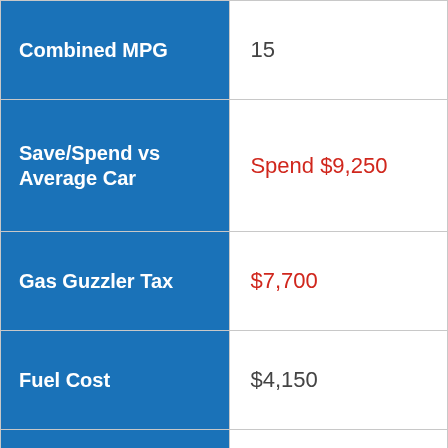| Label | Value |
| --- | --- |
| Combined MPG | 15 |
| Save/Spend vs Average Car | Spend $9,250 |
| Gas Guzzler Tax | $7,700 |
| Fuel Cost | $4,150 |
| Fuel Type 1 | Regular |
| Barrels of Petroleum | 20 |
| Drive | Rear-Wheel Drive |